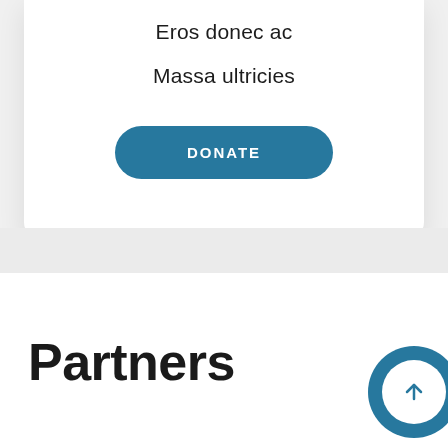Eros donec ac
Massa ultricies
[Figure (other): Teal rounded rectangle donate button with white uppercase text 'DONATE']
Partners
[Figure (other): Circular scroll-to-top button with teal background and white inner circle containing an upward arrow]